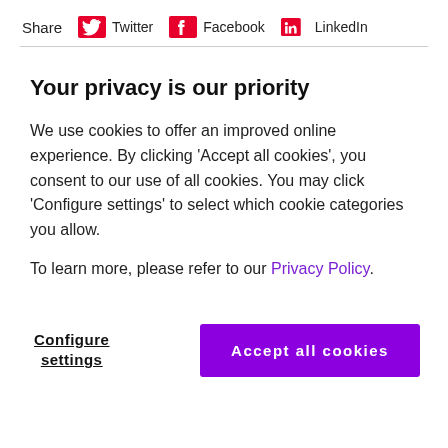Share  Twitter  Facebook  LinkedIn
Your privacy is our priority
We use cookies to offer an improved online experience. By clicking 'Accept all cookies', you consent to our use of all cookies. You may click 'Configure settings' to select which cookie categories you allow.
To learn more, please refer to our Privacy Policy.
Configure settings
Accept all cookies